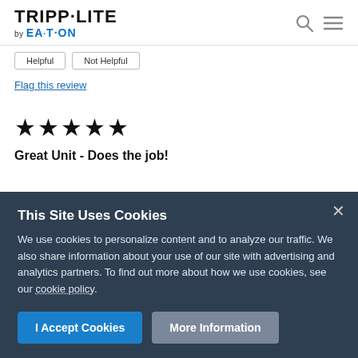TRIPP·LITE by EATON
Flag this review
★★★★★
Great Unit - Does the job!
This Site Uses Cookies
We use cookies to personalize content and to analyze our traffic. We also share information about your use of our site with advertising and analytics partners. To find out more about how we use cookies, see our cookie policy.
I Accept Cookies
More Information